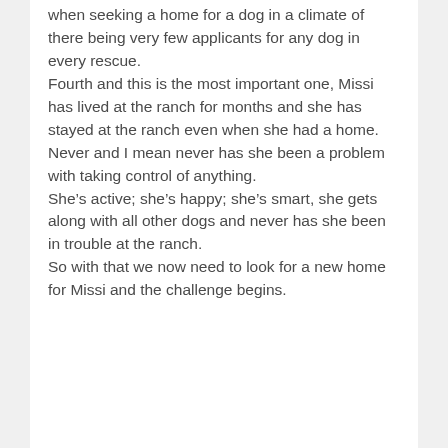when seeking a home for a dog in a climate of there being very few applicants for any dog in every rescue. Fourth and this is the most important one, Missi has lived at the ranch for months and she has stayed at the ranch even when she had a home. Never and I mean never has she been a problem with taking control of anything. She’s active; she’s happy; she’s smart, she gets along with all other dogs and never has she been in trouble at the ranch. So with that we now need to look for a new home for Missi and the challenge begins.